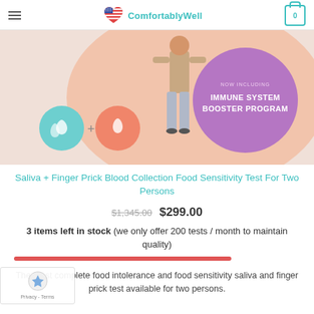ComfortablyWell
[Figure (illustration): Product promotional image showing a person standing with a peach/salmon circular background, a purple circle badge reading 'NOW INCLUDING IMMUNE SYSTEM BOOSTER PROGRAM', and two circular icons at bottom-left showing droplet symbols (teal and salmon) connected by a plus sign.]
Saliva + Finger Prick Blood Collection Food Sensitivity Test For Two Persons
$1,345.00  $299.00
3 items left in stock (we only offer 200 tests / month to maintain quality)
The most complete food intolerance and food sensitivity saliva and finger prick test available for two persons.